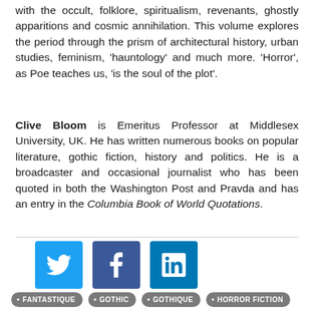with the occult, folklore, spiritualism, revenants, ghostly apparitions and cosmic annihilation. This volume explores the period through the prism of architectural history, urban studies, feminism, 'hauntology' and much more. 'Horror', as Poe teaches us, 'is the soul of the plot'.
Clive Bloom is Emeritus Professor at Middlesex University, UK. He has written numerous books on popular literature, gothic fiction, history and politics. He is a broadcaster and occasional journalist who has been quoted in both the Washington Post and Pravda and has an entry in the Columbia Book of World Quotations.
[Figure (other): Three social media icons: Twitter (blue bird), Facebook (blue f), LinkedIn (blue in)]
• FANTASTIQUE
• GOTHIC
• GOTHIQUE
• HORROR FICTION